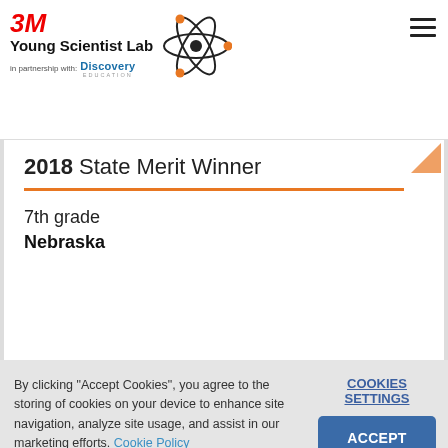3M Young Scientist Lab in partnership with Discovery Education
2018 State Merit Winner
7th grade
Nebraska
By clicking "Accept Cookies", you agree to the storing of cookies on your device to enhance site navigation, analyze site usage, and assist in our marketing efforts. Cookie Policy
COOKIES SETTINGS
ACCEPT COOKIES